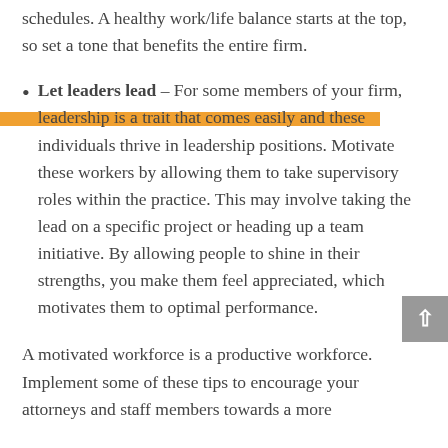schedules. A healthy work/life balance starts at the top, so set a tone that benefits the entire firm.
Let leaders lead – For some members of your firm, leadership is a trait that comes easily and these individuals thrive in leadership positions. Motivate these workers by allowing them to take supervisory roles within the practice. This may involve taking the lead on a specific project or heading up a team initiative. By allowing people to shine in their strengths, you make them feel appreciated, which motivates them to optimal performance.
A motivated workforce is a productive workforce. Implement some of these tips to encourage your attorneys and staff members towards a more